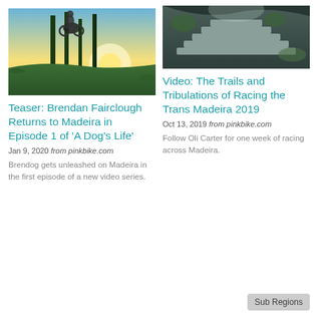[Figure (photo): Mountain biker doing a jump at sunset with tall trees in background]
Teaser: Brendan Fairclough Returns to Madeira in Episode 1 of 'A Dog's Life'
Jan 9, 2020 from pinkbike.com
Brendog gets unleashed on Madeira in the first episode of a new video series.
[Figure (photo): Staircase in a rocky cave or forest setting]
Video: The Trails and Tribulations of Racing the Trans Madeira 2019
Oct 13, 2019 from pinkbike.com
Follow Oli Carter for one week of racing across Madeira.